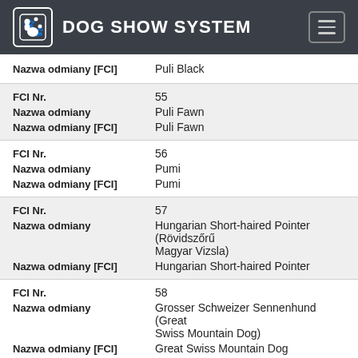DOG SHOW SYSTEM
| Field | Value |
| --- | --- |
| Nazwa odmiany [FCI] | Puli Black |
| FCI Nr. | 55 |
| Nazwa odmiany | Puli Fawn |
| Nazwa odmiany [FCI] | Puli Fawn |
| FCI Nr. | 56 |
| Nazwa odmiany | Pumi |
| Nazwa odmiany [FCI] | Pumi |
| FCI Nr. | 57 |
| Nazwa odmiany | Hungarian Short-haired Pointer (Rövidszőrű Magyar Vizsla) |
| Nazwa odmiany [FCI] | Hungarian Short-haired Pointer |
| FCI Nr. | 58 |
| Nazwa odmiany | Grosser Schweizer Sennenhund (Great Swiss Mountain Dog) |
| Nazwa odmiany [FCI] | Great Swiss Mountain Dog |